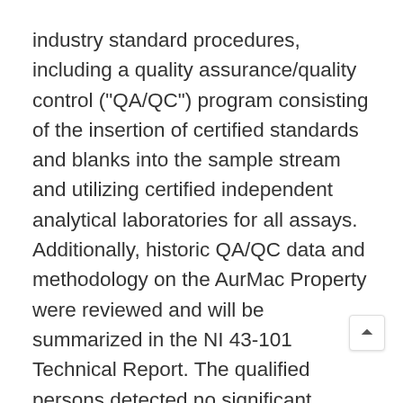industry standard procedures, including a quality assurance/quality control ("QA/QC") program consisting of the insertion of certified standards and blanks into the sample stream and utilizing certified independent analytical laboratories for all assays. Additionally, historic QA/QC data and methodology on the AurMac Property were reviewed and will be summarized in the NI 43-101 Technical Report. The qualified persons detected no significant QA/QC issues during review of the data.
A robust system of standards, ¼ core duplicates and analytical blanks, was implemented in all